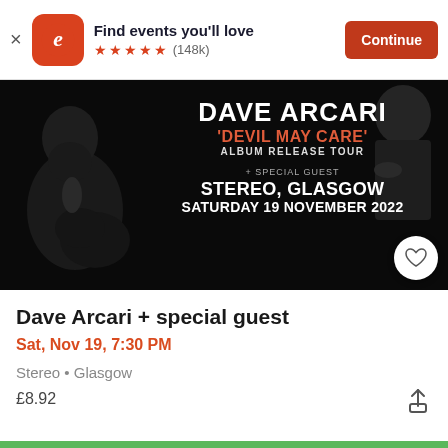Find events you'll love ★★★★★ (148k) Continue
[Figure (photo): Event poster for Dave Arcari 'Devil May Care' Album Release Tour at Stereo, Glasgow, Saturday 19 November 2022. Black and white background with a guitarist silhouette on the left and another performer on the right.]
Dave Arcari + special guest
Sat, Nov 19, 7:30 PM
Stereo • Glasgow
£8.92